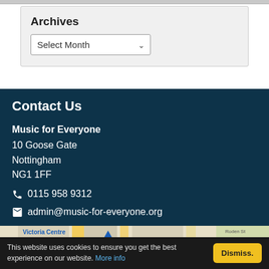Archives
Select Month
Contact Us
Music for Everyone
10 Goose Gate
Nottingham
NG1 1FF
📞 0115 958 9312
✉ admin@music-for-everyone.org
[Figure (map): Google Maps showing area around 10 Goose Gate Nottingham, with Victoria Centre, PRYZM, McDonald's, Sneinton Market, Handel St, Roden St visible]
This website uses cookies to ensure you get the best experience on our website. More info Dismiss.